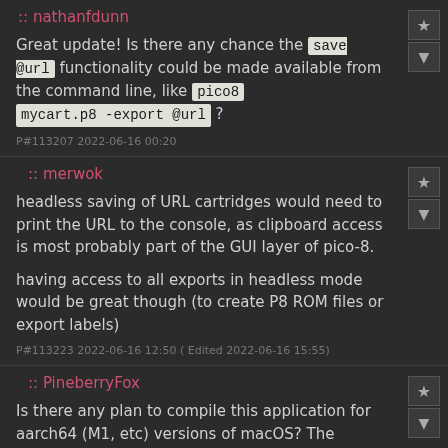:: nathanfdunn
Great update! Is there any chance the save @url functionality could be made available from the command line, like pico8 mycart.p8 -export @url ?
P#113207 2022-06-16 00:20
:: merwok
headless saving of URL cartridges would need to print the URL to the console, as clipboard access is most probably part of the GUI layer of pico-8.
having access to all exports in headless mode would be great though (to create P8 ROM files or export labels)
P#113223 2022-06-16 12:50 ( Edited 2022-06-16 15:55)
:: PineberryFox
Is there any plan to compile this application for aarch64 (M1, etc) versions of macOS? The x86_64 version runs just fine under